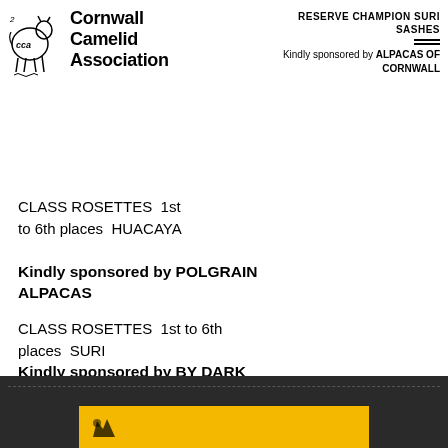[Figure (logo): Cornwall Camelid Association logo with stylized alpaca illustration]
Cornwall Camelid Association
RESERVE CHAMPION SURI SASHES
Kindly sponsored by ALPACAS OF CORNWALL
CLASS ROSETTES  1st to 6th places  HUACAYA
Kindly sponsored by POLGRAIN ALPACAS
CLASS ROSETTES  1st to 6th places  SURI
Kindly sponsored by BY DARK SKY ALPACAS
www.darkskyalpacas.com
[Figure (other): Dark footer bar with yellow banner and alpaca logo at bottom of page]